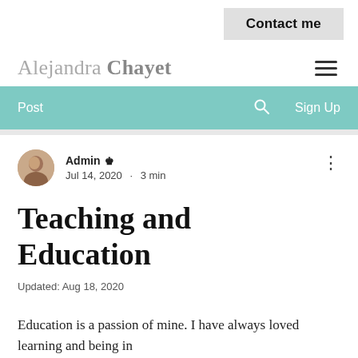Contact me
Alejandra Chayet
Post  Sign Up
Admin  Jul 14, 2020 · 3 min
Teaching and Education
Updated: Aug 18, 2020
Education is a passion of mine. I have always loved learning and being in